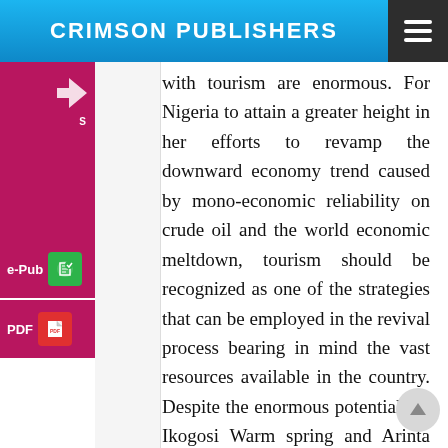CRIMSON PUBLISHERS
with tourism are enormous. For Nigeria to attain a greater height in her efforts to revamp the downward economy trend caused by mono-economic reliability on crude oil and the world economic meltdown, tourism should be recognized as one of the strategies that can be employed in the revival process bearing in mind the vast resources available in the country. Despite the enormous potentials of Ikogosi Warm spring and Arinta Waterfall to improve the local and state economy, the effect is not significant in the host communities. Ikogosi and Ipole-Iloro still remains under-developed